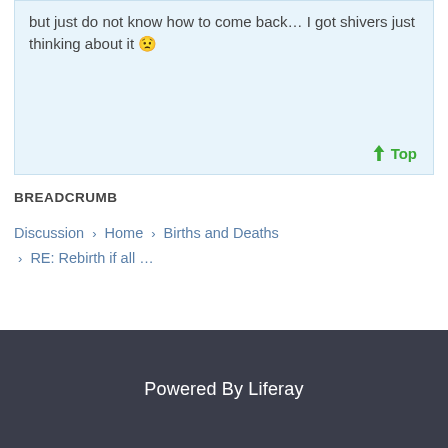but just do not know how to come back… I got shivers just thinking about it 😟
↑ Top
BREADCRUMB
Discussion › Home › Births and Deaths › RE: Rebirth if all …
Powered By Liferay